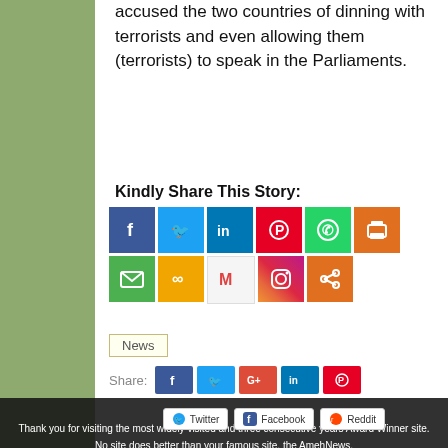the country's NATO membership. He accused the two countries of dinning with terrorists and even allowing them (terrorists) to speak in the Parliaments.
Kindly Share This Story:
[Figure (infographic): Social media sharing buttons: Facebook, Twitter, LinkedIn, Pinterest, WhatsApp, Print, Email, Copy link, Gmail, Instagram, Share]
News
Share: Facebook, Twitter, Google+, LinkedIn, Pinterest
Thank you for visiting the most widely visited and three consecutive years Award Winner site. No site does better than your famous site, the AmehNews. Hope, you got your desire for visit? Pls, do visit again.
Twitter   Facebook   Reddit